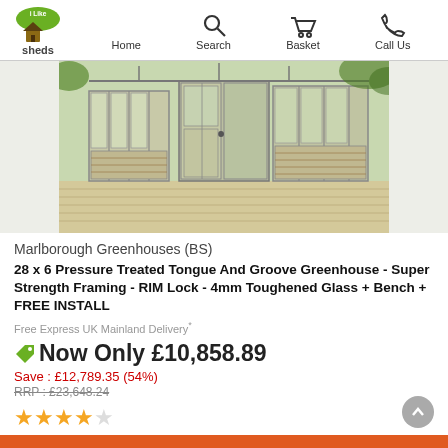Home | Search | Basket | Call Us
[Figure (photo): Wooden greenhouse with tongue and groove cladding, framed glass panels, and open door, photographed on a decked patio.]
Marlborough Greenhouses (BS)
28 x 6 Pressure Treated Tongue And Groove Greenhouse - Super Strength Framing - RIM Lock - 4mm Toughened Glass + Bench + FREE INSTALL
Free Express UK Mainland Delivery*
Now Only £10,858.89
Save : £12,789.35 (54%)
RRP : £23,648.24